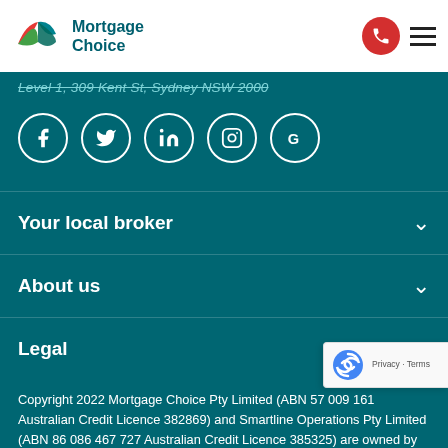Mortgage Choice
Level 1, 309 Kent St, Sydney NSW 2000
[Figure (illustration): Social media icons row: Facebook, Twitter, LinkedIn, Instagram, Google — white circle outlines on teal background]
Your local broker
About us
Legal
Copyright 2022 Mortgage Choice Pty Limited (ABN 57 009 161 Australian Credit Licence 382869) and Smartline Operations Pty Limited (ABN 86 086 467 727 Australian Credit Licence 385325) are owned by REA Group Limited. Your broker will advise whether they are a credit